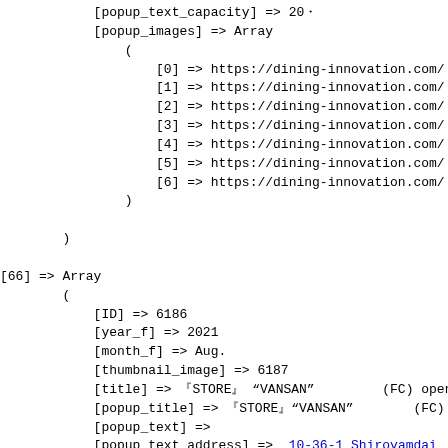[popup_text_capacity] => 200
[popup_images] => Array
    (
        [0] => https://dining-innovation.com/...
        [1] => https://dining-innovation.com/...
        [2] => https://dining-innovation.com/...
        [3] => https://dining-innovation.com/...
        [4] => https://dining-innovation.com/...
        [5] => https://dining-innovation.com/...
        [6] => https://dining-innovation.com/...
    )

)

[66] => Array
(
    [ID] => 6186
    [year_f] => 2021
    [month_f] => Aug.
    [thumbnail_image] => 6187
    [title] => STORE "VANSAN" (FC) opened
    [popup_title] => STORE "VANSAN" (FC) ope
    [popup_text] =>
    [popup_text_address] => 10-36-1 Shiroyamadai...

    [popup_text_capacity] => 1080
    [popup_images] => Array
        (
            [0] => https://dining-innovation.com/...
            [1] => https://dining-innovation.com/...